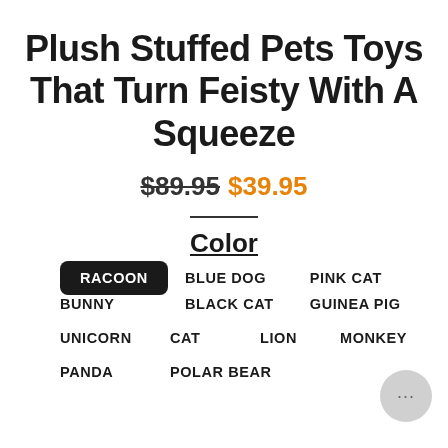Plush Stuffed Pets Toys That Turn Feisty With A Squeeze
$89.95  $39.95
Color
RACOON
BLUE DOG
PINK CAT
BUNNY
BLACK CAT
GUINEA PIG
UNICORN
CAT
LION
MONKEY
PANDA
POLAR BEAR